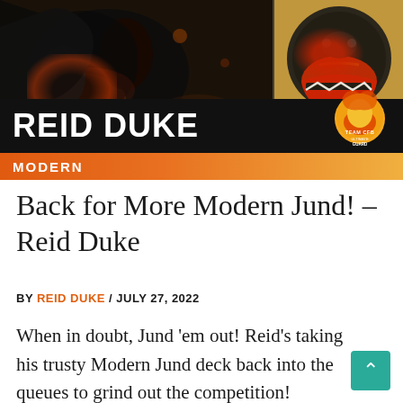[Figure (photo): Banner header image showing two game/cartoon characters side by side — left: a dark creature with fire/lava glow, right: a cartoon villain face with sharp teeth and red/orange design. Below the images is a black bar with 'REID DUKE' in white bold text and a Team CFB Ultimate Guard logo badge, and an orange gradient bar with 'MODERN' in white uppercase text.]
Back for More Modern Jund! – Reid Duke
BY REID DUKE / JULY 27, 2022
When in doubt, Jund 'em out! Reid's taking his trusty Modern Jund deck back into the queues to grind out the competition!